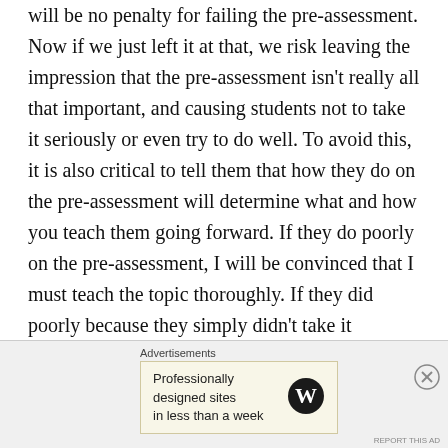will be no penalty for failing the pre-assessment. Now if we just left it at that, we risk leaving the impression that the pre-assessment isn't really all that important, and causing students not to take it seriously or even try to do well. To avoid this, it is also critical to tell them that how they do on the pre-assessment will determine what and how you teach them going forward. If they do poorly on the pre-assessment, I will be convinced that I must teach the topic thoroughly. If they did poorly because they simply didn't take it seriously, they will be quite bored by the unnecessary instruction they will be receiving until the next assessment. Classes will be the most enjoyable and interesting if I collect accurate information on where they are with the topic, so my instruction can be appropriate to
Advertisements
Professionally designed sites in less than a week